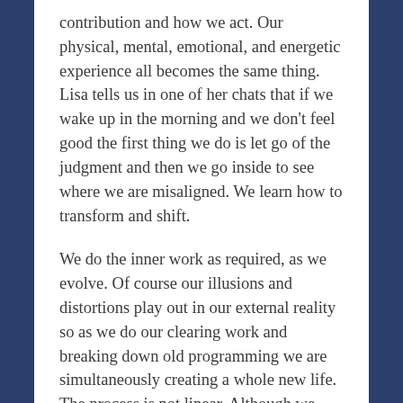contribution and how we act. Our physical, mental, emotional, and energetic experience all becomes the same thing. Lisa tells us in one of her chats that if we wake up in the morning and we don't feel good the first thing we do is let go of the judgment and then we go inside to see where we are misaligned. We learn how to transform and shift.
We do the inner work as required, as we evolve. Of course our illusions and distortions play out in our external reality so as we do our clearing work and breaking down old programming we are simultaneously creating a whole new life. The process is not linear. Although we often try to analyze it into that with our mind.
Learning to live in the present moment as pure love consciousness is the new reality our energy